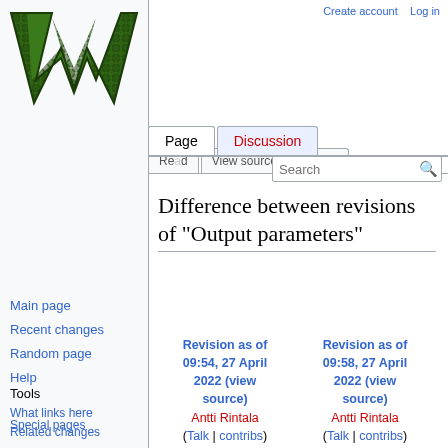Create account  Log in
[Figure (logo): Wikipedia logo - large green W with scale pattern]
Page  Discussion
Read  View source  More  Search
Difference between revisions of "Output parameters"
Main page
Recent changes
Random page
Help
Tools
What links here
Related changes
Special pages
Printable version
Permanent link
Page information
Revision as of 09:54, 27 April 2022 (view source)
Antti Rintala
(Talk | contribs)
(→Poison cross sections)
← Older edit
Revision as of 09:58, 27 April 2022 (view source)
Antti Rintala
(Talk | contribs)
(→Poison decay constants)
Newer edit →